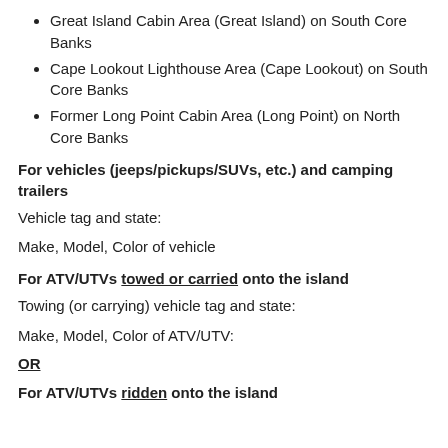Great Island Cabin Area (Great Island) on South Core Banks
Cape Lookout Lighthouse Area (Cape Lookout) on South Core Banks
Former Long Point Cabin Area (Long Point) on North Core Banks
For vehicles (jeeps/pickups/SUVs, etc.) and camping trailers
Vehicle tag and state:
Make, Model, Color of vehicle
For ATV/UTVs towed or carried onto the island
Towing (or carrying) vehicle tag and state:
Make, Model, Color of ATV/UTV:
OR
For ATV/UTVs ridden onto the island